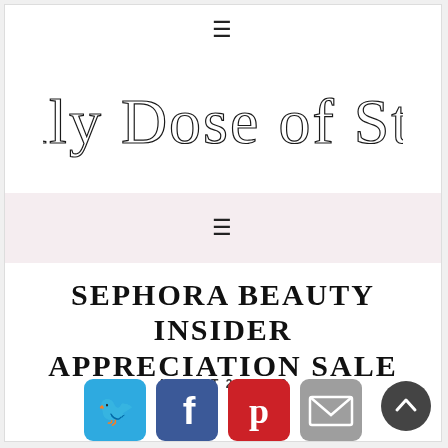[Figure (logo): Daily Dose of Style cursive script logo]
≡
SEPHORA BEAUTY INSIDER APPRECIATION SALE
AUGUST 29, 2018
[Figure (infographic): Social share icons: Twitter, Facebook, Pinterest, Email]